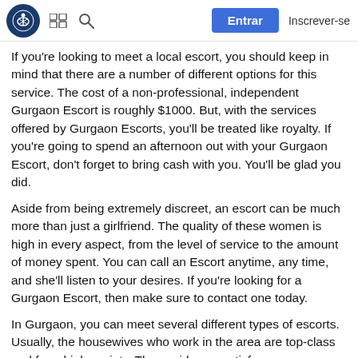Entrar | Inscrever-se
If you're looking to meet a local escort, you should keep in mind that there are a number of different options for this service. The cost of a non-professional, independent Gurgaon Escort is roughly $1000. But, with the services offered by Gurgaon Escorts, you'll be treated like royalty. If you're going to spend an afternoon out with your Gurgaon Escort, don't forget to bring cash with you. You'll be glad you did.
Aside from being extremely discreet, an escort can be much more than just a girlfriend. The quality of these women is high in every aspect, from the level of service to the amount of money spent. You can call an Escort anytime, any time, and she'll listen to your desires. If you're looking for a Gurgaon Escort, then make sure to contact one today.
In Gurgaon, you can meet several different types of escorts. Usually, the housewives who work in the area are top-class and from high society. These girls can satisfy your every sexual desire. Even if you're a bachelor, you can still meet a Gurgaon Escort that's ready to have fun with you. Whether you're a new couple looking for a great time, these Gurgaon Escort is sure to please!